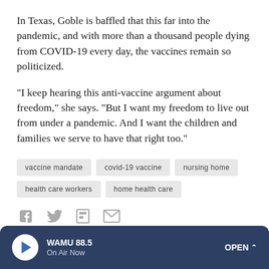In Texas, Goble is baffled that this far into the pandemic, and with more than a thousand people dying from COVID-19 every day, the vaccines remain so politicized.
"I keep hearing this anti-vaccine argument about freedom," she says. "But I want my freedom to live out from under a pandemic. And I want the children and families we serve to have that right too."
vaccine mandate
covid-19 vaccine
nursing home
health care workers
home health care
[Figure (infographic): Social sharing icons: Facebook, Twitter, Flipboard, Email]
WAMU 88.5 On Air Now OPEN